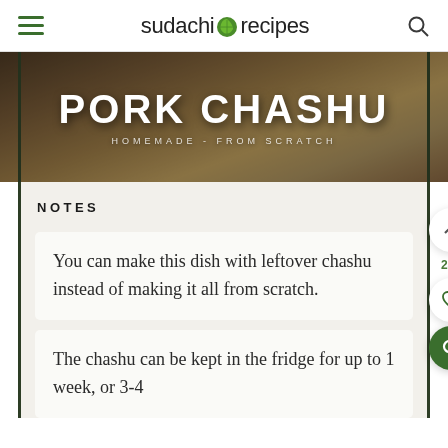sudachi recipes
[Figure (photo): Hero image of Pork Chashu on a wooden cutting board with text overlay 'PORK CHASHU' and subtitle 'HOMEMADE - FROM SCRATCH']
NOTES
You can make this dish with leftover chashu instead of making it all from scratch.
The chashu can be kept in the fridge for up to 1 week, or 3-4